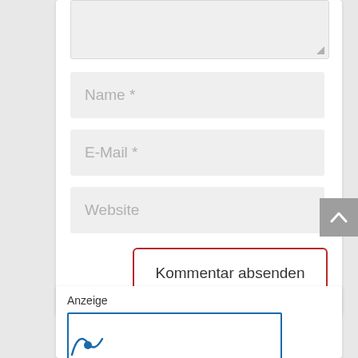[Figure (screenshot): Partially visible textarea input field at top of form]
Name *
E-Mail *
Website
Kommentar absenden
Anzeige